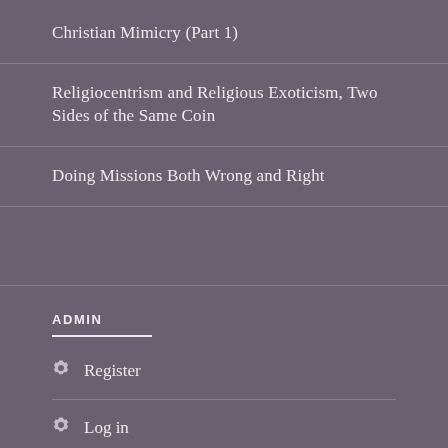Christian Mimicry (Part 1)
Religiocentrism and Religious Exoticism, Two Sides of the Same Coin
Doing Missions Both Wrong and Right
ADMIN
Register
Log in
Entries feed